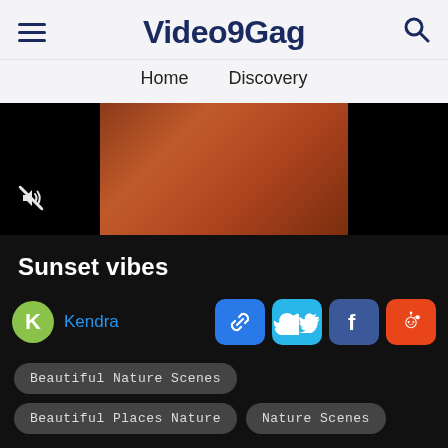Video9Gag — Home  Discovery
[Figure (screenshot): Video thumbnail showing a warm reddish-brown sunset scene, muted/unmuted icon visible at bottom left of video player]
Sunset vibes
K  Kendra
[Figure (infographic): Share buttons row: link (blue), Twitter (light blue), Facebook (dark blue), Reddit (orange)]
Beautiful Nature Scenes
Beautiful Places Nature
Nature Scenes
Show More